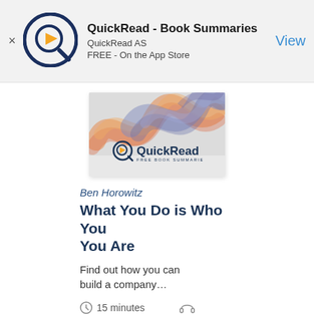[Figure (logo): QuickRead app logo: circular icon with Q shape and play button triangle in orange, dark navy border]
QuickRead - Book Summaries
QuickRead AS
FREE - On the App Store
View
[Figure (illustration): Book cover showing colorful smoke wave design in orange and blue/purple with QuickRead logo at bottom]
Ben Horowitz
What You Do is Who You Are
Find out how you can build a company…
15 minutes